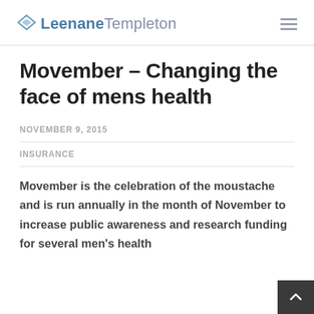LeenaneTempleton
Movember – Changing the face of mens health
NOVEMBER 9, 2015
INSURANCE
Movember is the celebration of the moustache and is run annually in the month of November to increase public awareness and research funding for several men's health